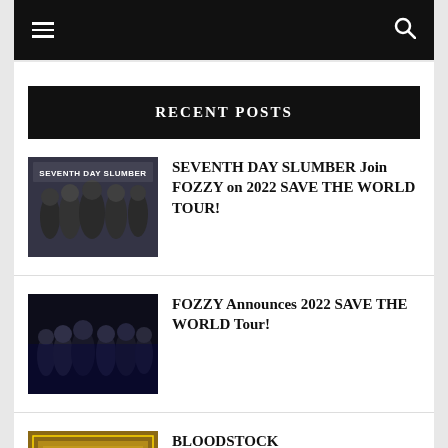Navigation bar with hamburger menu and search icon
RECENT POSTS
[Figure (photo): Photo of Seventh Day Slumber band members in black clothing with band name text overlay]
SEVENTH DAY SLUMBER Join FOZZY on 2022 SAVE THE WORLD TOUR!
[Figure (photo): Photo of FOZZY band members in dark clothing]
FOZZY Announces 2022 SAVE THE WORLD Tour!
[Figure (photo): Partial photo with yellow/gold decorative element - BLOODSTOCK post]
BLOODSTOCK